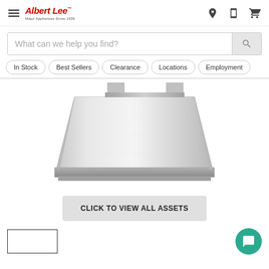Albert Lee – Major Appliances Since 1939
What can we help you find?
In Stock
Best Sellers
Clearance
Locations
Employment
[Figure (photo): Stainless steel range hood / ventilation hood product photo on white background]
CLICK TO VIEW ALL ASSETS